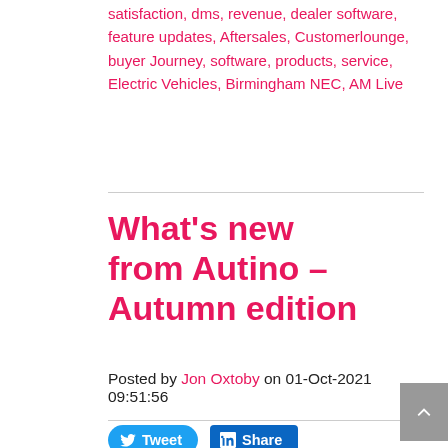satisfaction, dms, revenue, dealer software, feature updates, Aftersales, Customerlounge, buyer Journey, software, products, service, Electric Vehicles, Birmingham NEC, AM Live
What's new from Autino – Autumn edition
Posted by Jon Oxtoby on 01-Oct-2021 09:51:56